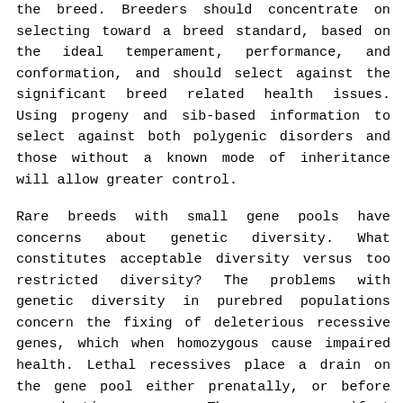the breed. Breeders should concentrate on selecting toward a breed standard, based on the ideal temperament, performance, and conformation, and should select against the significant breed related health issues. Using progeny and sib-based information to select against both polygenic disorders and those without a known mode of inheritance will allow greater control.
Rare breeds with small gene pools have concerns about genetic diversity. What constitutes acceptable diversity versus too restricted diversity? The problems with genetic diversity in purebred populations concern the fixing of deleterious recessive genes, which when homozygous cause impaired health. Lethal recessives place a drain on the gene pool either prenatally, or before reproductive age. They can manifest themselves through smaller litter size, or neonatal death. Other deleterious recessives cause disease, while not